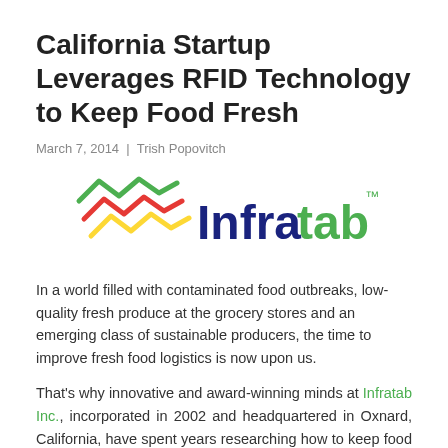California Startup Leverages RFID Technology to Keep Food Fresh
March 7, 2014 | Trish Popovitch
[Figure (logo): Infratab logo with stylized zigzag lines in green, red, and yellow on left, and 'Infratab' text in blue and green with trademark symbol]
In a world filled with contaminated food outbreaks, low-quality fresh produce at the grocery stores and an emerging class of sustainable producers, the time to improve fresh food logistics is now upon us.
That's why innovative and award-winning minds at Infratab Inc., incorporated in 2002 and headquartered in Oxnard, California, have spent years researching how to keep food fresh from field to consumer. The company offers small farmers, produce truck fleet owners and farmers' markets Freshtime, a